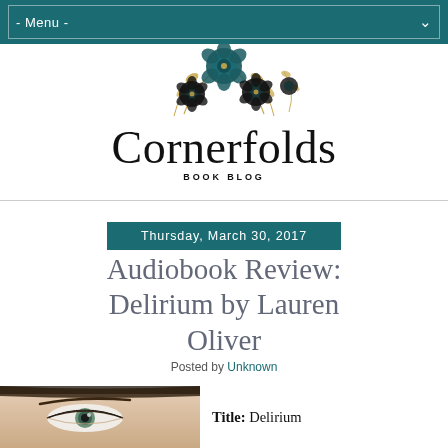- Menu -
[Figure (logo): Cornerfolds Book Blog logo with dark teal and black floral arrangement and decorative serif wordmark]
Thursday, March 30, 2017
Audiobook Review: Delirium by Lauren Oliver
Posted by Unknown
[Figure (photo): Close-up photo of a woman's face/eyes, likely book cover art]
Title: Delirium
Author: Lauren Oliver